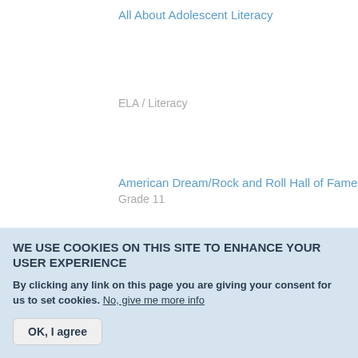All About Adolescent Literacy
ELA / Literacy
Grade 11
American Dream/Rock and Roll Hall of Fame
ELA / Literacy
WE USE COOKIES ON THIS SITE TO ENHANCE YOUR USER EXPERIENCE
By clicking any link on this page you are giving your consent for us to set cookies. No, give me more info
OK, I agree